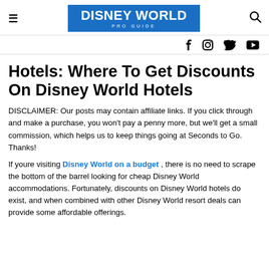DISNEY WORLD PRO GUIDE
Hotels: Where To Get Discounts On Disney World Hotels
DISCLAIMER: Our posts may contain affiliate links. If you click through and make a purchase, you won't pay a penny more, but we'll get a small commission, which helps us to keep things going at Seconds to Go. Thanks!
If youre visiting Disney World on a budget, there is no need to scrape the bottom of the barrel looking for cheap Disney World accommodations. Fortunately, discounts on Disney World hotels do exist, and when combined with other Disney World resort deals can provide some affordable offerings.